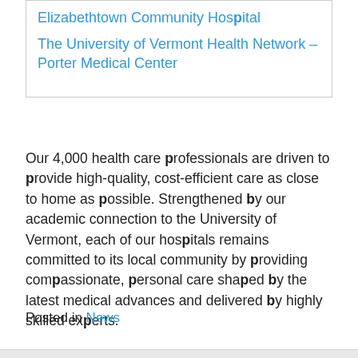Elizabethtown Community Hospital
The University of Vermont Health Network – Porter Medical Center
Our 4,000 health care professionals are driven to provide high-quality, cost-efficient care as close to home as possible. Strengthened by our academic connection to the University of Vermont, each of our hospitals remains committed to its local community by providing compassionate, personal care shaped by the latest medical advances and delivered by highly skilled experts.
Posted in News